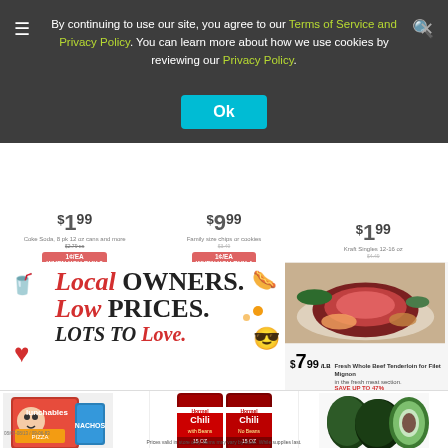By continuing to use our site, you agree to our Terms of Service and Privacy Policy. You can learn more about how we use cookies by reviewing our Privacy Policy.
Ok
[Figure (photo): Grocery store advertisement showing Local Owners. Low Prices. Lots to Love. banner with decorative icons]
[Figure (photo): Fresh Whole Beef Tenderloin for Filet Mignon $7.99/LB SAVE UP TO 47%]
[Figure (photo): Oscar Mayer Lunchables assorted varieties 99 cents, SAVE UP TO 70%]
[Figure (photo): Hormel Chili with Beans or No Beans 15 oz $1.99, SAVE UP TO 48%]
[Figure (photo): Hass Avocados 2 for $1, SAVE UP TO 60%]
Prices valid in store only. Items may vary by store. While supplies last.